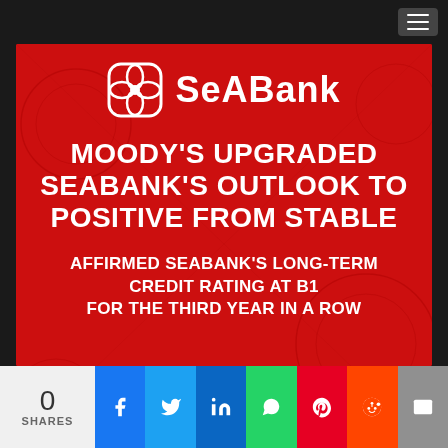[Figure (logo): SeABank logo and announcement banner: 'MOODY'S UPGRADED SEABANK'S OUTLOOK TO POSITIVE FROM STABLE — AFFIRMED SEABANK'S LONG-TERM CREDIT RATING AT B1 FOR THE THIRD YEAR IN A ROW']
0 SHARES